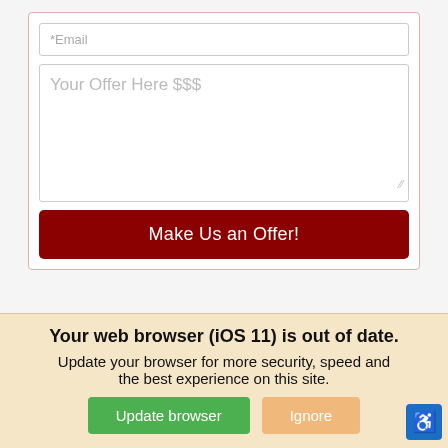[Figure (screenshot): Web form with email input, offer textarea placeholder ('Your Offer Here $$$'), and a dark red 'Make Us an Offer!' submit button, inside a bordered card.]
[Figure (screenshot): Empty white content box below the form section.]
We use cookies to optimize our website and our service.
Cookie Policy   Privacy Statement
Your web browser (iOS 11) is out of date. Update your browser for more security, speed and the best experience on this site.
Update browser
Ignore